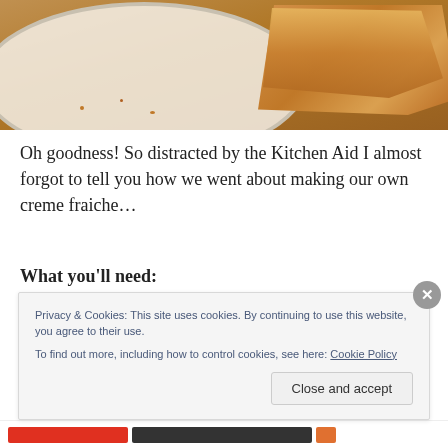[Figure (photo): A close-up photo of a white plate with pieces of golden-brown cornbread on a wooden surface]
Oh goodness! So distracted by the Kitchen Aid I almost forgot to tell you how we went about making our own creme fraiche…
What you'll need:
1 cup heavy cream (look for pasteurized, not ultra-
Privacy & Cookies: This site uses cookies. By continuing to use this website, you agree to their use.
To find out more, including how to control cookies, see here: Cookie Policy
Close and accept